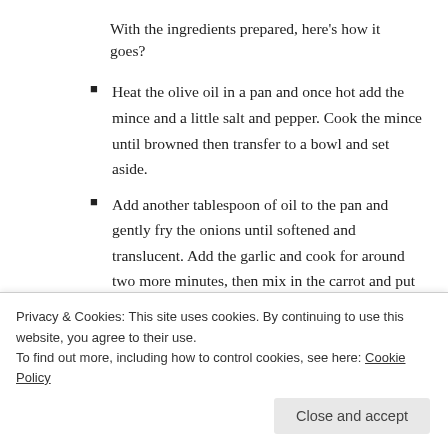With the ingredients prepared, here's how it goes?
Heat the olive oil in a pan and once hot add the mince and a little salt and pepper. Cook the mince until browned then transfer to a bowl and set aside.
Add another tablespoon of oil to the pan and gently fry the onions until softened and translucent. Add the garlic and cook for around two more minutes, then mix in the carrot and put the mince back into the pan.
Next chuck in the tomatoes, stir and pour in the stock. Bring all of this bring to a simmer before…
Privacy & Cookies: This site uses cookies. By continuing to use this website, you agree to their use.
To find out more, including how to control cookies, see here: Cookie Policy
Close and accept